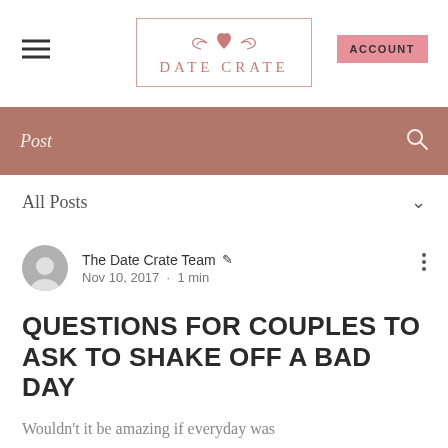DATE CRATE
Post
All Posts
The Date Crate Team  Nov 10, 2017  •  1 min
QUESTIONS FOR COUPLES TO ASK TO SHAKE OFF A BAD DAY
Wouldn't it be amazing if everyday was